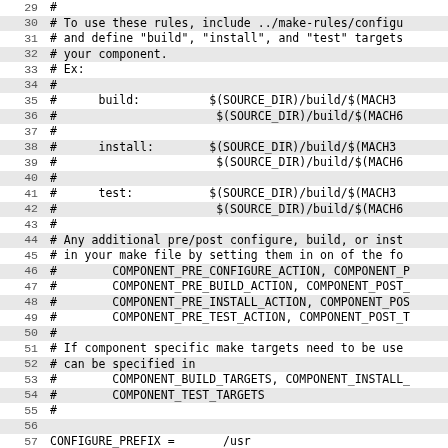Code listing lines 29-61, a Makefile with comments about configure/build/install/test targets and CONFIGURE_PREFIX, CONFIGURE_BINDIR, CONFIGURE_LIBDIR variables.